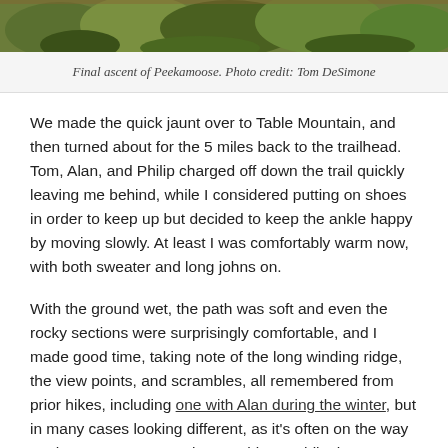[Figure (photo): Photo of a forested trail area showing ferns and green foliage, partial view of the final ascent of Peekamoose mountain.]
Final ascent of Peekamoose.  Photo credit:  Tom DeSimone
We made the quick jaunt over to Table Mountain, and then turned about for the 5 miles back to the trailhead.  Tom, Alan, and Philip charged off down the trail quickly leaving me behind, while I considered putting on shoes in order to keep up but decided to keep the ankle happy by moving slowly.  At least I was comfortably warm now, with both sweater and long johns on.
With the ground wet, the path was soft and even the rocky sections were surprisingly comfortable, and I made good time, taking note of the long winding ridge, the view points, and scrambles, all remembered from prior hikes, including one with Alan during the winter, but in many cases looking different, as it’s often on the way up that one pauses to observe things, while the way down is a rush.  At one point about half way down the mountain, I turned a bend in the trail and there before me the narrow ridge fell away into a